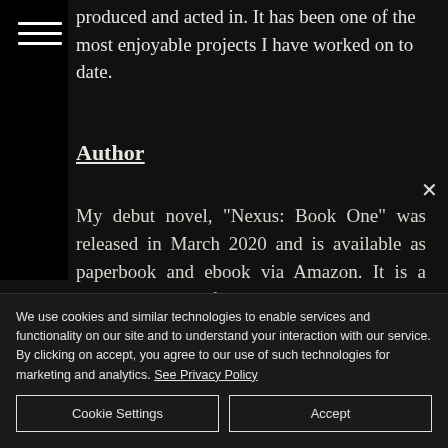produced and acted in. It has been one of the most enjoyable projects I have worked on to date.
Author
My debut novel, "Nexus: Book One" was released in March 2020 and is available as paperbook and ebook via Amazon. It is a two-parter, dark-fantasy, adventure book. I am currently working on the sequel to
We use cookies and similar technologies to enable services and functionality on our site and to understand your interaction with our service. By clicking on accept, you agree to our use of such technologies for marketing and analytics. See Privacy Policy
Cookie Settings
Accept